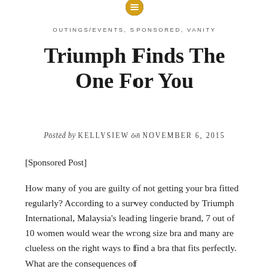[Figure (logo): Yellow/gold circular icon with menu/list lines at the top of the page]
OUTINGS/EVENTS, SPONSORED, VANITY
Triumph Finds The One For You
Posted by KELLYSIEW on NOVEMBER 6, 2015
[Sponsored Post]
How many of you are guilty of not getting your bra fitted regularly? According to a survey conducted by Triumph International, Malaysia's leading lingerie brand, 7 out of 10 women would wear the wrong size bra and many are clueless on the right ways to find a bra that fits perfectly. What are the consequences of